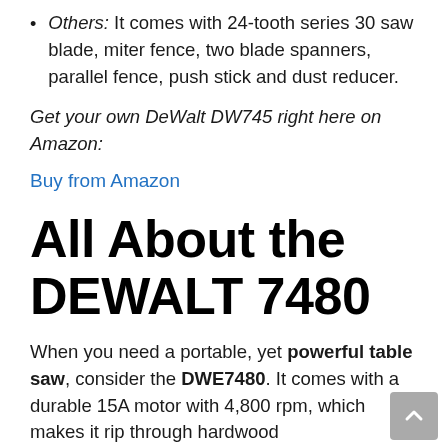Others: It comes with 24-tooth series 30 saw blade, miter fence, two blade spanners, parallel fence, push stick and dust reducer.
Get your own DeWalt DW745 right here on Amazon:
Buy from Amazon
All About the DEWALT 7480
When you need a portable, yet powerful table saw, consider the DWE7480. It comes with a durable 15A motor with 4,800 rpm, which makes it rip through hardwood